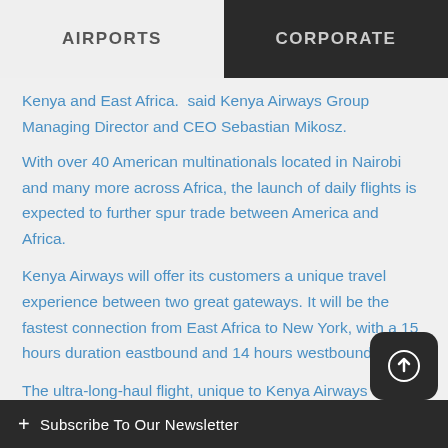AIRPORTS  |  CORPORATE
Kenya and East Africa.  said Kenya Airways Group Managing Director and CEO Sebastian Mikosz.
With over 40 American multinationals located in Nairobi and many more across Africa, the launch of daily flights is expected to further spur trade between America and Africa.
Kenya Airways will offer its customers a unique travel experience between two great gateways. It will be the fastest connection from East Africa to New York, with a 15 hours duration eastbound and 14 hours westbound.
The ultra-long-haul flight, unique to Kenya Airways network, will require 4 Pilots and 12 Flight attendants as well as 85 to... exceptional on...
+ Subscribe To Our Newsletter